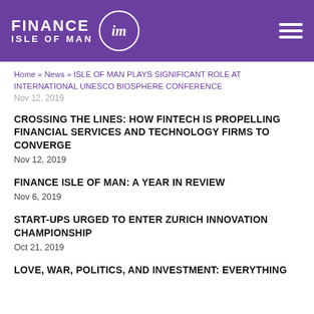FINANCE ISLE OF MAN
Home » News » ISLE OF MAN PLAYS SIGNIFICANT ROLE AT INTERNATIONAL UNESCO BIOSPHERE CONFERENCE
Nov 12, 2019
CROSSING THE LINES: HOW FINTECH IS PROPELLING FINANCIAL SERVICES AND TECHNOLOGY FIRMS TO CONVERGE
Nov 12, 2019
FINANCE ISLE OF MAN: A YEAR IN REVIEW
Nov 6, 2019
START-UPS URGED TO ENTER ZURICH INNOVATION CHAMPIONSHIP
Oct 21, 2019
LOVE, WAR, POLITICS, AND INVESTMENT: EVERYTHING